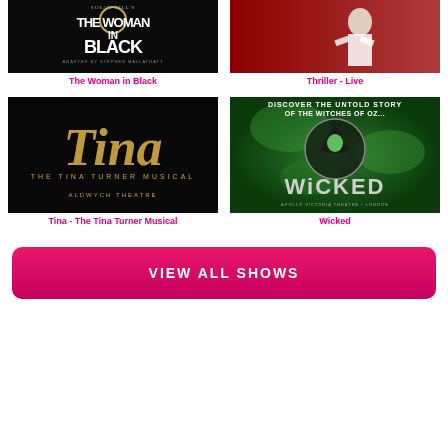[Figure (photo): The Woman in Black show poster - black background with white and gold title text]
The Woman in Black
[Figure (photo): Thriller - Live show photo - performer in white suit on stage]
Thriller - Live
[Figure (photo): Tina - The Tina Turner Musical poster - black background with gold script title, Aldwych Theatre]
Tina - The Tina Turner Musical
[Figure (photo): Wicked musical poster - green swirling background with Wicked witch, Apollo Victoria Theatre London]
Wicked
VIEW ALL SHOWS